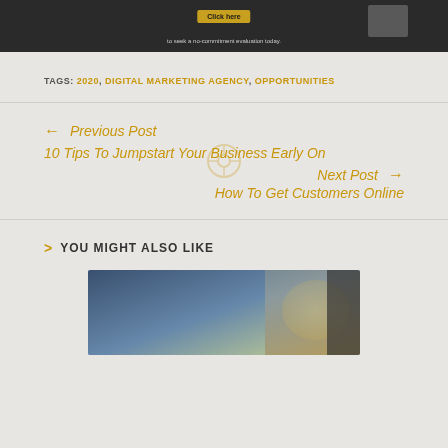[Figure (screenshot): Dark banner with 'Click here' button and text 'to seek a no-commitment evaluation today.']
TAGS: 2020, DIGITAL MARKETING AGENCY, OPPORTUNITIES
Previous Post
10 Tips To Jumpstart Your Business Early On
Next Post
How To Get Customers Online
YOU MIGHT ALSO LIKE
[Figure (photo): Photo showing a tablet device and a yellow glass on a wooden table]